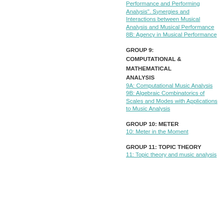Performance and Performing Analysis". Synergies and Interactions between Musical Analysis and Musical Performance
8B: Agency in Musical Performance
GROUP 9: COMPUTATIONAL & MATHEMATICAL ANALYSIS
9A: Computational Music Analysis
9B: Algebraic Combinatorics of Scales and Modes with Applications to Music Analysis
GROUP 10: METER
10: Meter in the Moment
GROUP 11: TOPIC THEORY
11: Topic theory and music analysis